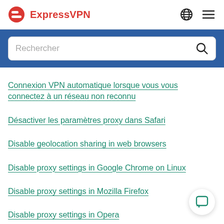ExpressVPN
[Figure (screenshot): Search bar with placeholder text 'Rechercher' and a search icon on a blue background band]
Connexion VPN automatique lorsque vous vous connectez à un réseau non reconnu
Désactiver les paramètres proxy dans Safari
Disable geolocation sharing in web browsers
Disable proxy settings in Google Chrome on Linux
Disable proxy settings in Mozilla Firefox
Disable proxy settings in Opera